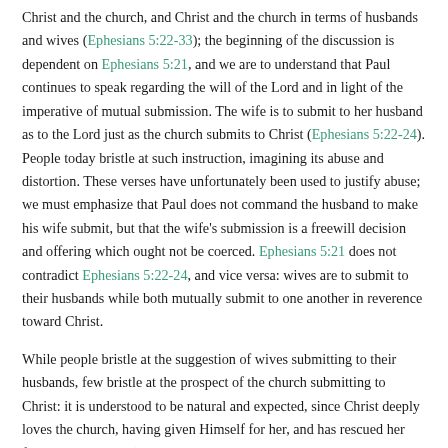Christ and the church, and Christ and the church in terms of husbands and wives (Ephesians 5:22-33); the beginning of the discussion is dependent on Ephesians 5:21, and we are to understand that Paul continues to speak regarding the will of the Lord and in light of the imperative of mutual submission. The wife is to submit to her husband as to the Lord just as the church submits to Christ (Ephesians 5:22-24). People today bristle at such instruction, imagining its abuse and distortion. These verses have unfortunately been used to justify abuse; we must emphasize that Paul does not command the husband to make his wife submit, but that the wife's submission is a freewill decision and offering which ought not be coerced. Ephesians 5:21 does not contradict Ephesians 5:22-24, and vice versa: wives are to submit to their husbands while both mutually submit to one another in reverence toward Christ.
While people bristle at the suggestion of wives submitting to their husbands, few bristle at the prospect of the church submitting to Christ: it is understood to be natural and expected, since Christ deeply loves the church, having given Himself for her, and has rescued her from sin and death (Ephesians 5:22-24); in a similar way husbands are